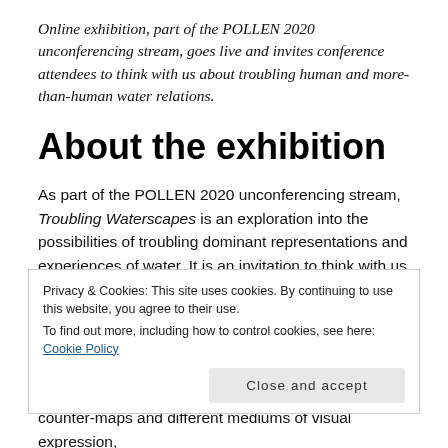Online exhibition, part of the POLLEN 2020 unconferencing stream, goes live and invites conference attendees to think with us about troubling human and more-than-human water relations.
About the exhibition
As part of the POLLEN 2020 unconferencing stream, Troubling Waterscapes is an exploration into the possibilities of troubling dominant representations and experiences of water. It is an invitation to think with us through different perspectives upon water and its socionatural relations in India and elsewhere. In particular,
Privacy & Cookies: This site uses cookies. By continuing to use this website, you agree to their use.
To find out more, including how to control cookies, see here: Cookie Policy
counter-maps and different mediums of visual expression,